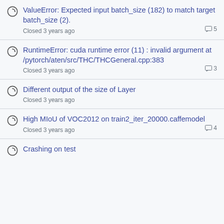ValueError: Expected input batch_size (182) to match target batch_size (2). Closed 3 years ago — 5 comments
RuntimeError: cuda runtime error (11) : invalid argument at /pytorch/aten/src/THC/THCGeneral.cpp:383 Closed 3 years ago — 3 comments
Different output of the size of Layer Closed 3 years ago
High MIoU of VOC2012 on train2_iter_20000.caffemodel Closed 3 years ago — 4 comments
Crashing on test